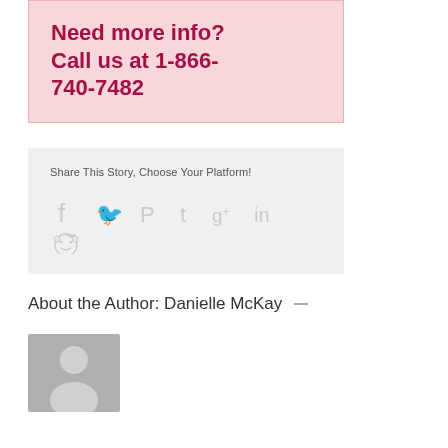Need more info? Call us at 1-866-740-7482
Share This Story, Choose Your Platform!
[Figure (infographic): Social sharing icons: Facebook, Twitter, Pinterest, Tumblr, Google+, LinkedIn, Reddit]
About the Author: Danielle McKay
[Figure (photo): Generic author avatar placeholder image (grey silhouette of a person)]